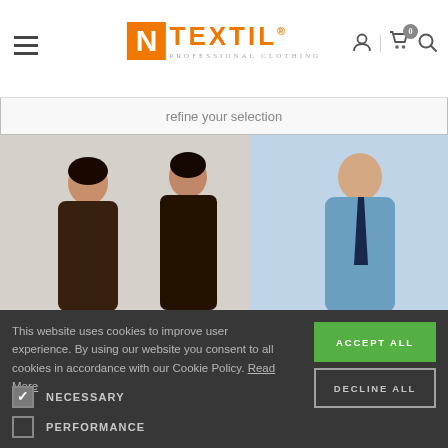N TEXTIL PROFESSIONAL CLOTHING - header navigation with hamburger menu, logo, user icon, cart (0), and search icon
refine your selection
[Figure (photo): Banner photo showing three professional workers in uniform: woman in dark brown shirt, man in dark brown shirt, and man in light blue shirt with tie]
This website uses cookies to improve user experience. By using our website you consent to all cookies in accordance with our Cookie Policy. Read More
NECESSARY (checked)
PERFORMANCE
ADVERTISING
FUNCTIONALITY